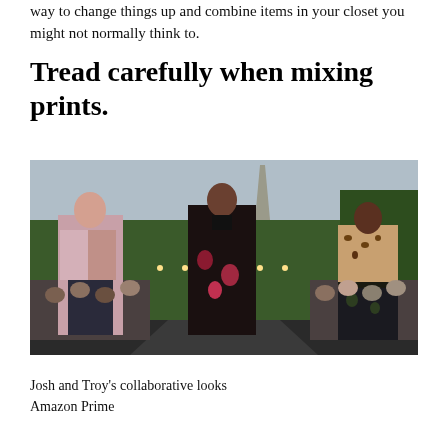way to change things up and combine items in your closet you might not normally think to.
Tread carefully when mixing prints.
[Figure (photo): Three fashion models walking a runway outdoors at what appears to be a fashion show. The model on the left wears a pink printed jacket with dark wide-leg trousers. The center model wears a dark floral jumpsuit. The model on the right wears a leopard print top with dark floral shorts. Audience members are visible in the background along with a green hedge wall and an obelisk monument.]
Josh and Troy's collaborative looks
Amazon Prime